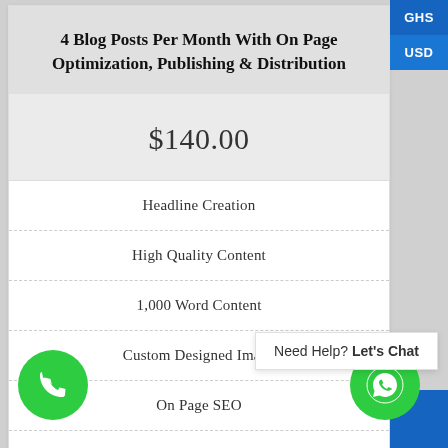4 Blog Posts Per Month With On Page Optimization, Publishing & Distribution
$140.00
Headline Creation
High Quality Content
1,000 Word Content
Custom Designed Image
On Page SEO
Published to Blog
Need Help? Let's Chat
GHS
USD